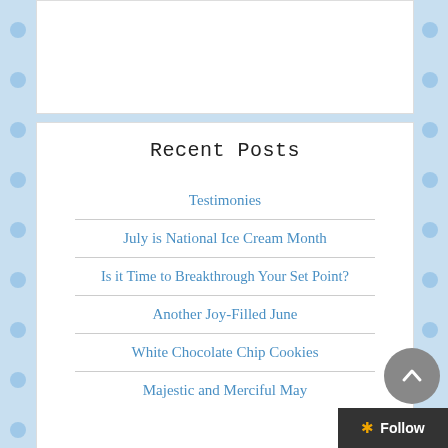Recent Posts
Testimonies
July is National Ice Cream Month
Is it Time to Breakthrough Your Set Point?
Another Joy-Filled June
White Chocolate Chip Cookies
Majestic and Merciful May